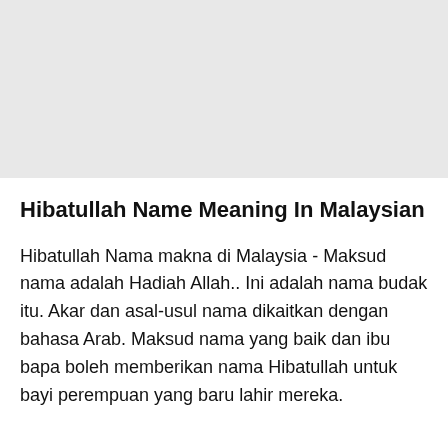Hibatullah Name Meaning In Malaysian
Hibatullah Nama makna di Malaysia - Maksud nama adalah Hadiah Allah.. Ini adalah nama budak itu. Akar dan asal-usul nama dikaitkan dengan bahasa Arab. Maksud nama yang baik dan ibu bapa boleh memberikan nama Hibatullah untuk bayi perempuan yang baru lahir mereka.